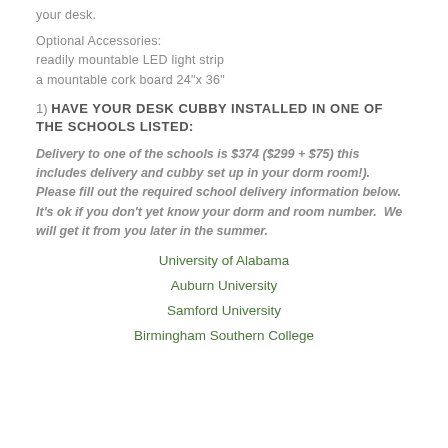your desk.
Optional Accessories:
readily mountable LED light strip
a mountable cork board 24"x 36"
1) HAVE YOUR DESK CUBBY INSTALLED IN ONE OF THE SCHOOLS LISTED:
Delivery to one of the schools is $374 ($299 + $75) this includes delivery and cubby set up in your dorm room!).  Please fill out the required school delivery information below.  It's ok if you don't yet know your dorm and room number.  We will get it from you later in the summer.
University of Alabama
Auburn University
Samford University
Birmingham Southern College